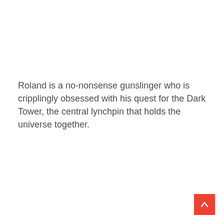Roland is a no-nonsense gunslinger who is cripplingly obsessed with his quest for the Dark Tower, the central lynchpin that holds the universe together.